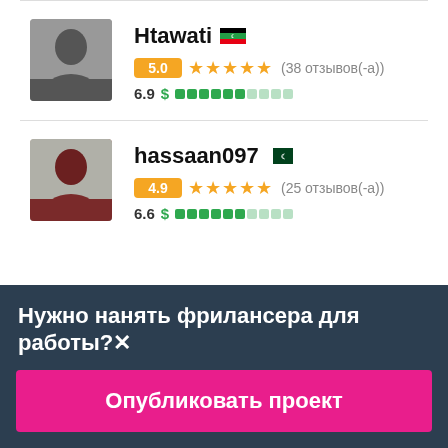[Figure (photo): Profile photo of Htawati, a man in dark clothing]
Htawati 🇱🇾  5.0 ★★★★★ (38 отзывов(-а))  6.9 $ ████████░░░
[Figure (photo): Profile photo of hassaan097, a man in dark red shirt]
hassaan097 🇵🇰  4.9 ★★★★★ (25 отзывов(-а))  6.6 $ ████████░░░
Нужно нанять фрилансера для работы?✕
Опубликовать проект